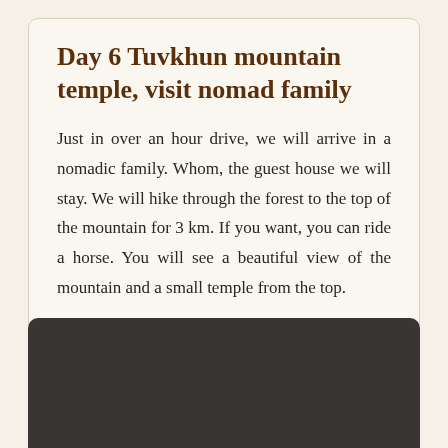Day 6 Tuvkhun mountain temple, visit nomad family
Just in over an hour drive, we will arrive in a nomadic family. Whom, the guest house we will stay. We will hike through the forest to the top of the mountain for 3 km. If you want, you can ride a horse. You will see a beautiful view of the mountain and a small temple from the top.
[Figure (photo): Dark background photo area at the bottom of the page, partially visible with rounded top corners]